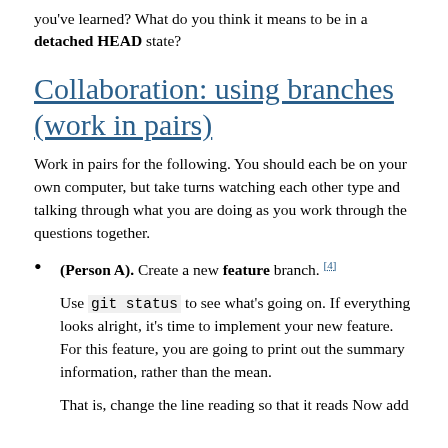you've learned? What do you think it means to be in a detached HEAD state?
Collaboration: using branches (work in pairs)
Work in pairs for the following. You should each be on your own computer, but take turns watching each other type and talking through what you are doing as you work through the questions together.
(Person A). Create a new feature branch. [4]
Use git status to see what's going on. If everything looks alright, it's time to implement your new feature. For this feature, you are going to print out the summary information, rather than the mean.
That is, change the line reading so that it reads Now add